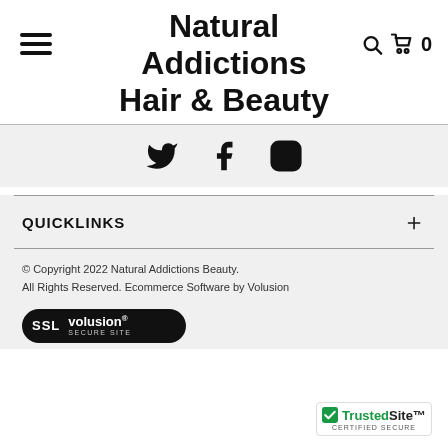Natural Addictions Hair & Beauty
[Figure (infographic): Social media icons: Twitter bird, Facebook f, Instagram camera]
QUICKLINKS
© Copyright 2022 Natural Addictions Beauty. All Rights Reserved. Ecommerce Software by Volusion
[Figure (logo): SSL Volusion Secure Site badge]
[Figure (logo): TrustedSite Certified Secure badge]